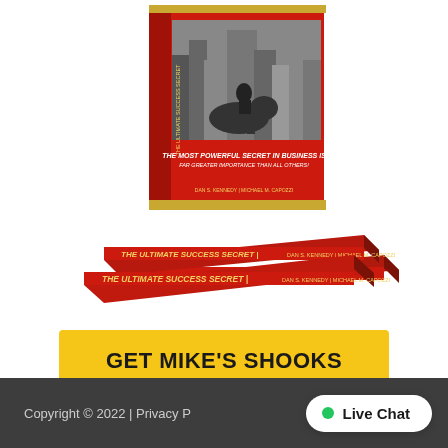[Figure (illustration): Stack of three books titled 'The Ultimate Success Secret' by Dan S. Kennedy and Michael M. Capozzi, with a red cover featuring a black and white urban scene with a horse statue]
GET MIKE'S SHOOKS
Copyright © 2022 | Privacy P... • Live Chat